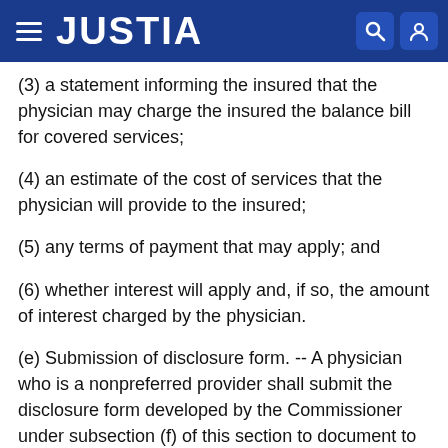JUSTIA
(3) a statement informing the insured that the physician may charge the insured the balance bill for covered services;
(4) an estimate of the cost of services that the physician will provide to the insured;
(5) any terms of payment that may apply; and
(6) whether interest will apply and, if so, the amount of interest charged by the physician.
(e) Submission of disclosure form. -- A physician who is a nonpreferred provider shall submit the disclosure form developed by the Commissioner under subsection (f) of this section to document to the insurer the assignment of benefits by an insured.
(f) Development of disclosure forms. -- The